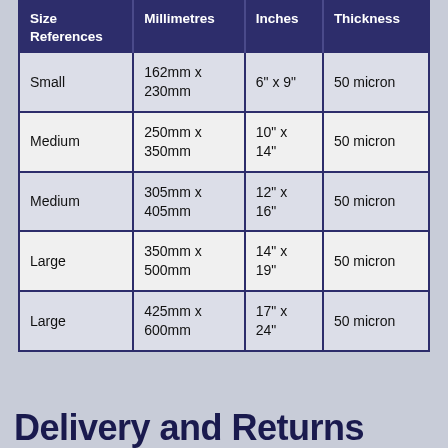| Size References | Millimetres | Inches | Thickness |
| --- | --- | --- | --- |
| Small | 162mm x 230mm | 6" x 9" | 50 micron |
| Medium | 250mm x 350mm | 10" x 14" | 50 micron |
| Medium | 305mm x 405mm | 12" x 16" | 50 micron |
| Large | 350mm x 500mm | 14" x 19" | 50 micron |
| Large | 425mm x 600mm | 17" x 24" | 50 micron |
Delivery and Returns